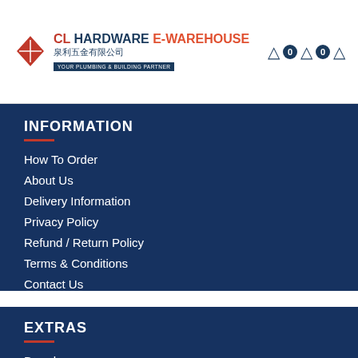CL HARDWARE E-WAREHOUSE 泉利五金有限公司 YOUR PLUMBING & BUILDING PARTNER
INFORMATION
How To Order
About Us
Delivery Information
Privacy Policy
Refund / Return Policy
Terms & Conditions
Contact Us
EXTRAS
Brands